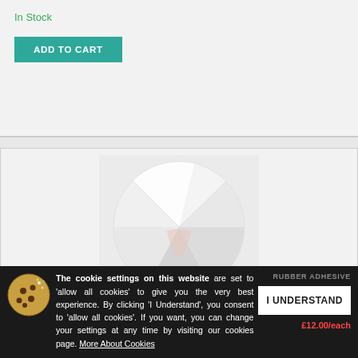In Stock
ADD TO CART
[Figure (photo): Close-up photo of white foam or rubber adhesive material peeling, shown inside a circular crop on a light grey background.]
The cookie settings on this website are set to 'allow all cookies' to give you the very best experience. By clicking 'I Understand', you consent to 'allow all cookies'. If you want, you can change your settings at any time by visiting our cookies page. More About Cookies
I UNDERSTAND
RUBBER ADHESIVE
£12.00/each